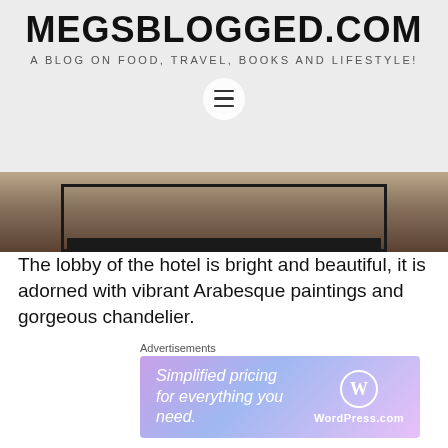MEGSBLOGGED.COM
A BLOG ON FOOD, TRAVEL, BOOKS AND LIFESTYLE!
[Figure (photo): Hotel lobby photo showing a black metal shelving unit/rack on a light wooden floor with blurred background]
The lobby of the hotel is bright and beautiful, it is adorned with vibrant Arabesque paintings and gorgeous chandelier.
We checked into the hotel around early noon, we  were offered welcome drinks and Arabic sweets on our arrival. Our check-in happened super fast and
Advertisements
[Figure (screenshot): WordPress.com advertisement banner: 'Simplified pricing for everything you need.' with WordPress.com logo on gradient purple-blue background]